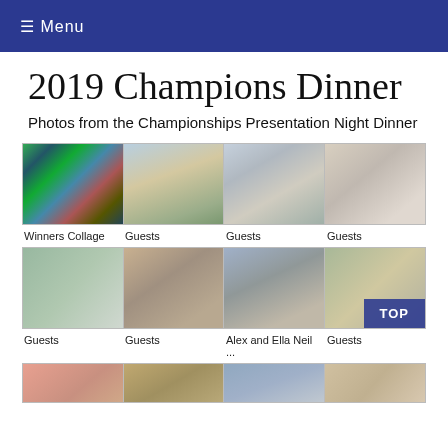≡ Menu
2019 Champions Dinner
Photos from the Championships Presentation Night Dinner
[Figure (photo): Winners Collage photo thumbnail]
[Figure (photo): Guests photo thumbnail - people outside on grounds]
[Figure (photo): Guests photo thumbnail - group of people outdoors]
[Figure (photo): Guests photo thumbnail - people at outdoor event]
Winners Collage
Guests
Guests
Guests
[Figure (photo): Guests photo thumbnail - group of women]
[Figure (photo): Guests photo thumbnail - older couple with person]
[Figure (photo): Alex and Ella Neil photo thumbnail]
[Figure (photo): Guests photo thumbnail - people at sunset]
Guests
Guests
Alex and Ella Neil ...
Guests
[Figure (photo): Partial photo row 3 col 1]
[Figure (photo): Partial photo row 3 col 2]
[Figure (photo): Partial photo row 3 col 3]
[Figure (photo): Partial photo row 3 col 4]